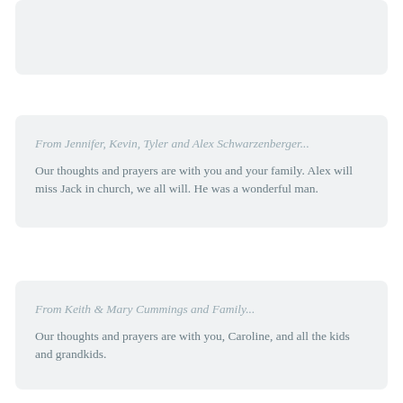From Jennifer, Kevin, Tyler and Alex Schwarzenberger...
Our thoughts and prayers are with you and your family. Alex will miss Jack in church, we all will. He was a wonderful man.
From Keith & Mary Cummings and Family...
Our thoughts and prayers are with you, Caroline, and all the kids and grandkids.